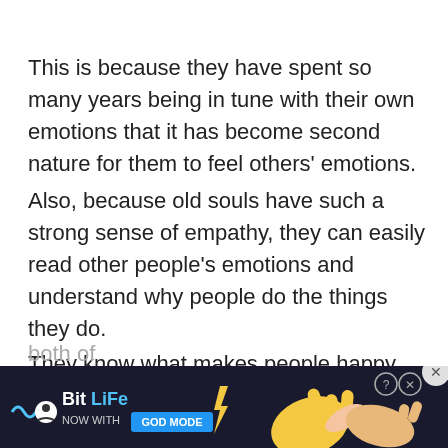This is because they have spent so many years being in tune with their own emotions that it has become second nature for them to feel others' emotions.
Also, because old souls have such a strong sense of empathy, they can easily read other people's emotions and understand why people do the things they do.
They know what makes people happy and what makes people sad, so when someone comes to them needing help or advice, an old soul is able to provide both of
[Figure (screenshot): BitLife advertisement banner with dark background showing BitLife logo, 'NOW WITH GOD MODE' text, pointing hand illustration, and close button]